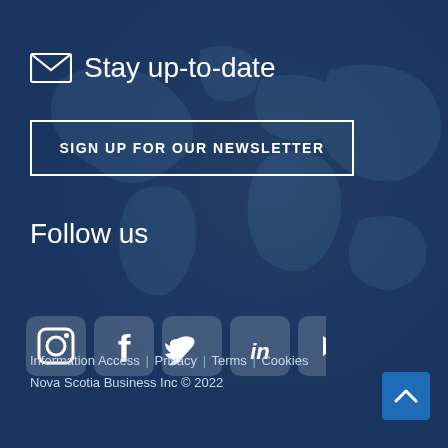Stay up-to-date
SIGN UP FOR OUR NEWSLETTER
Follow us
[Figure (illustration): Row of five social media icons: Instagram, Facebook, Twitter, LinkedIn, YouTube — white icons on dark blue rounded-square backgrounds]
Information Access | Privacy | Terms | Cookies
Nova Scotia Business Inc © 2022